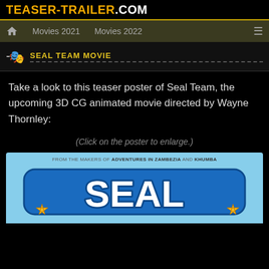TEASER-TRAILER.COM
Movies 2021   Movies 2022
SEAL TEAM MOVIE
Take a look to this teaser poster of Seal Team, the upcoming 3D CG animated movie directed by Wayne Thornley:
(Click on the poster to enlarge.)
[Figure (photo): Partial view of the Seal Team movie teaser poster showing the movie title logo on a light blue background with gold stars. Top text reads: FROM THE MAKERS OF ADVENTURES IN ZAMBEZIA AND KHUMBA]